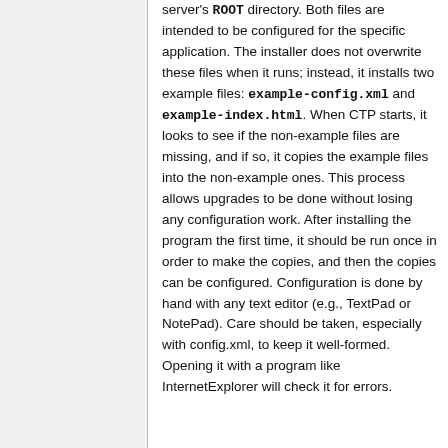server's ROOT directory. Both files are intended to be configured for the specific application. The installer does not overwrite these files when it runs; instead, it installs two example files: example-config.xml and example-index.html. When CTP starts, it looks to see if the non-example files are missing, and if so, it copies the example files into the non-example ones. This process allows upgrades to be done without losing any configuration work. After installing the program the first time, it should be run once in order to make the copies, and then the copies can be configured. Configuration is done by hand with any text editor (e.g., TextPad or NotePad). Care should be taken, especially with config.xml, to keep it well-formed. Opening it with a program like InternetExplorer will check it for errors.